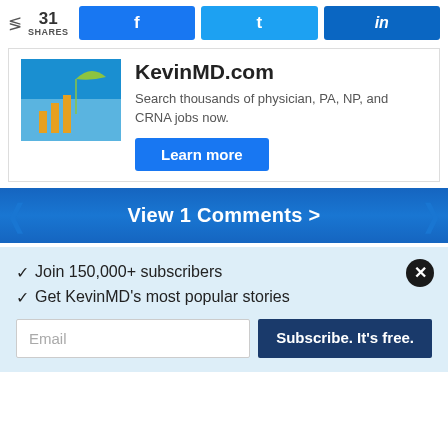[Figure (screenshot): Share bar with 31 shares count and social media buttons for Facebook, Twitter, LinkedIn]
[Figure (screenshot): KevinMD.com job search advertisement with image, title, description and Learn more button]
View 1 Comments >
✓  Join 150,000+ subscribers
✓  Get KevinMD's most popular stories
Email  Subscribe. It's free.